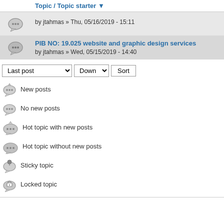| Topic / Topic starter ▼ |  |
| --- | --- |
| [icon] | by jtahmas » Thu, 05/16/2019 - 15:11 |
| [icon] | PIB NO: 19.025 website and graphic design services
by jtahmas » Wed, 05/15/2019 - 14:40 |
Last post  Down  Sort
New posts
No new posts
Hot topic with new posts
Hot topic without new posts
Sticky topic
Locked topic